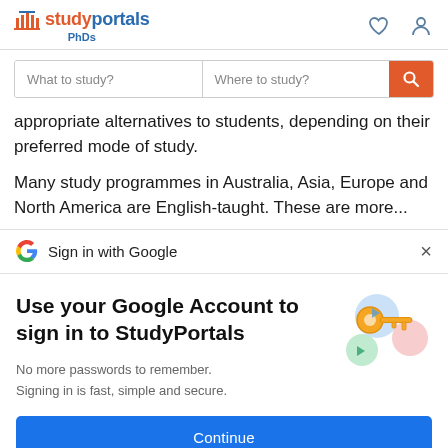studyportals PhDs
What to study? | Where to study?
appropriate alternatives to students, depending on their preferred mode of study.

Many study programmes in Australia, Asia, Europe and North America are English-taught. These are more...
Sign in with Google
Use your Google Account to sign in to StudyPortals
No more passwords to remember. Signing in is fast, simple and secure.
Continue